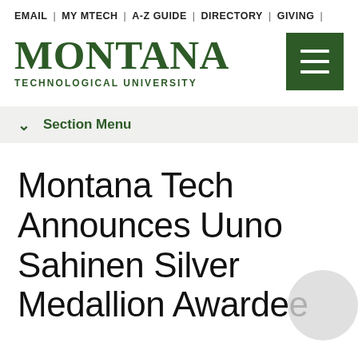EMAIL | MY MTECH | A-Z GUIDE | DIRECTORY | GIVING |
[Figure (logo): Montana Technological University logo in dark green serif text with hamburger menu button]
Section Menu
Montana Tech Announces Uuno Sahinen Silver Medallion Awardee